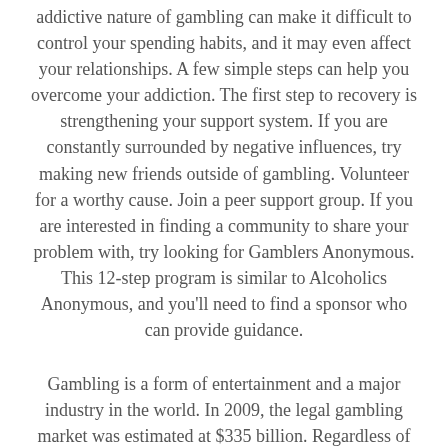addictive nature of gambling can make it difficult to control your spending habits, and it may even affect your relationships. A few simple steps can help you overcome your addiction. The first step to recovery is strengthening your support system. If you are constantly surrounded by negative influences, try making new friends outside of gambling. Volunteer for a worthy cause. Join a peer support group. If you are interested in finding a community to share your problem with, try looking for Gamblers Anonymous. This 12-step program is similar to Alcoholics Anonymous, and you'll need to find a sponsor who can provide guidance.
Gambling is a form of entertainment and a major industry in the world. In 2009, the legal gambling market was estimated at $335 billion. Regardless of the type of gambling, people engage in it if it gives them pleasure and a way to escape the responsibilities of